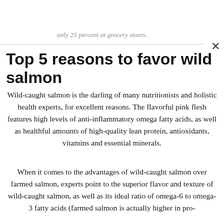only 25 percent at grocery stores.
Top 5 reasons to favor wild salmon
Wild-caught salmon is the darling of many nutritionists and holistic health experts, for excellent reasons. The flavorful pink flesh features high levels of anti-inflammatory omega fatty acids, as well as healthful amounts of high-quality lean protein, antioxidants, vitamins and essential minerals.
When it comes to the advantages of wild-caught salmon over farmed salmon, experts point to the superior flavor and texture of wild-caught salmon, as well as its ideal ratio of omega-6 to omega-3 fatty acids (farmed salmon is actually higher in pro-